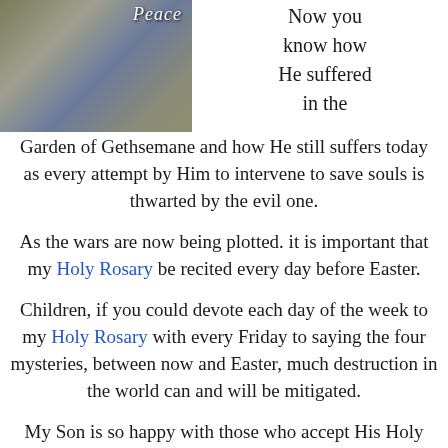[Figure (photo): Globe with flowers and the word Peace written in italic script at the top]
Now you know how He suffered in the
Garden of Gethsemane and how He still suffers today as every attempt by Him to intervene to save souls is thwarted by the evil one.
As the wars are now being plotted. it is important that my Holy Rosary be recited every day before Easter.
Children, if you could devote each day of the week to my Holy Rosary with every Friday to saying the four mysteries, between now and Easter, much destruction in the world can and will be mitigated.
My Son is so happy with those who accept His Holy Word